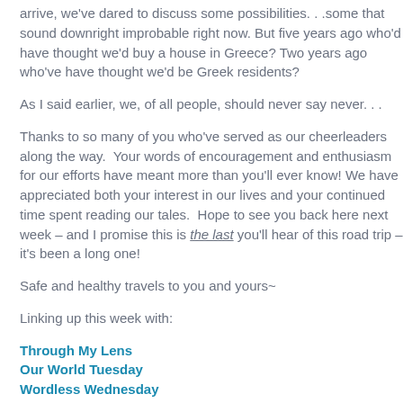arrive, we've dared to discuss some possibilities. . .some that sound downright improbable right now. But five years ago who'd have thought we'd buy a house in Greece? Two years ago who've have thought we'd be Greek residents?
As I said earlier, we, of all people, should never say never. . .
Thanks to so many of you who've served as our cheerleaders along the way.  Your words of encouragement and enthusiasm for our efforts have meant more than you'll ever know! We have appreciated both your interest in our lives and your continued time spent reading our tales.  Hope to see you back here next week – and I promise this is the last you'll hear of this road trip – it's been a long one!
Safe and healthy travels to you and yours~
Linking up this week with:
Through My Lens
Our World Tuesday
Wordless Wednesday